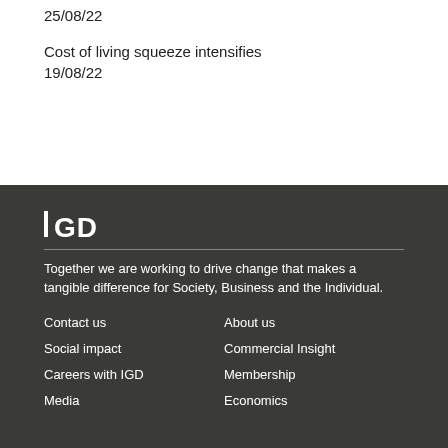25/08/22
Cost of living squeeze intensifies
19/08/22
[Figure (logo): IGD logo in white text on dark background]
Together we are working to drive change that makes a tangible difference for Society, Business and the Individual.
Contact us
About us
Social impact
Commercial Insight
Careers with IGD
Membership
Media
Economics